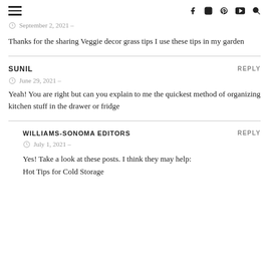≡  f  ⓘ  ⓟ  ▶  🔍
September 2, 2021 –
Thanks for the sharing Veggie decor grass tips I use these tips in my garden
SUNIL
June 29, 2021 –
Yeah! You are right but can you explain to me the quickest method of organizing kitchen stuff in the drawer or fridge
WILLIAMS-SONOMA EDITORS
July 1, 2021 –
Yes! Take a look at these posts. I think they may help:
Hot Tips for Cold Storage